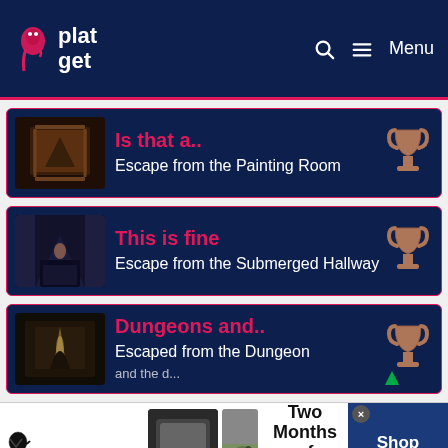plat get — Search — Menu
Is that a..
Escape from the Painting Room
This is fine
Escape from the Submerged Hallway
Dungeons and..
Escaped from the Dungeon and the d...
[Figure (screenshot): SmartPak advertisement: 50% Off Two Months of ColiCare, ColiCare Eligible Supplements, CODE: COLICARE10. Shop Now button.]